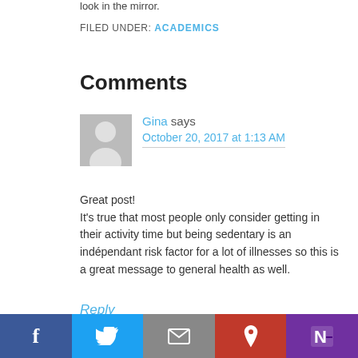look in the mirror.
FILED UNDER: ACADEMICS
Comments
[Figure (illustration): Gray avatar silhouette of a person]
Gina says
October 20, 2017 at 1:13 AM
Great post!
It's true that most people only consider getting in their activity time but being sedentary is an indépendant risk factor for a lot of illnesses so this is a great message to general health as well.
Reply